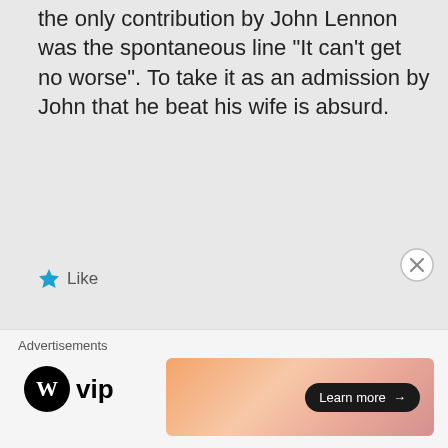the only contribution by John Lennon was the spontaneous line “It can’t get no worse”. To take it as an admission by John that he beat his wife is absurd.
★ Like
bellejarblog on October 1, 2012 at 05:00
Advertisements
[Figure (logo): WordPress VIP logo (circle W mark with 'vip' text)]
[Figure (photo): Orange/pink gradient advertisement banner with 'Learn more →' button]